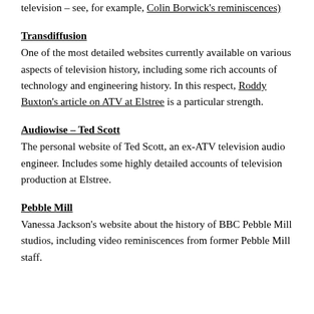television – see, for example, Colin Borwick's reminiscences)
Transdiffusion
One of the most detailed websites currently available on various aspects of television history, including some rich accounts of technology and engineering history. In this respect, Roddy Buxton's article on ATV at Elstree is a particular strength.
Audiowise – Ted Scott
The personal website of Ted Scott, an ex-ATV television audio engineer. Includes some highly detailed accounts of television production at Elstree.
Pebble Mill
Vanessa Jackson's website about the history of BBC Pebble Mill studios, including video reminiscences from former Pebble Mill staff.